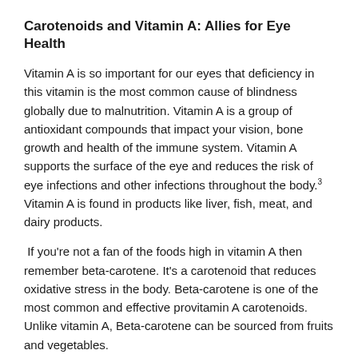Carotenoids and Vitamin A: Allies for Eye Health
Vitamin A is so important for our eyes that deficiency in this vitamin is the most common cause of blindness globally due to malnutrition. Vitamin A is a group of antioxidant compounds that impact your vision, bone growth and health of the immune system. Vitamin A supports the surface of the eye and reduces the risk of eye infections and other infections throughout the body.³ Vitamin A is found in products like liver, fish, meat, and dairy products.
If you're not a fan of the foods high in vitamin A then remember beta-carotene. It's a carotenoid that reduces oxidative stress in the body. Beta-carotene is one of the most common and effective provitamin A carotenoids. Unlike vitamin A, Beta-carotene can be sourced from fruits and vegetables.